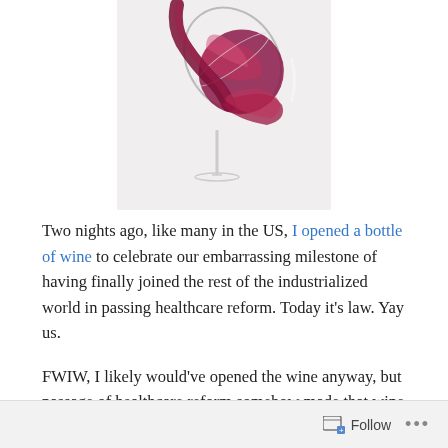[Figure (photo): Close-up photograph of red wine being poured into a tilted wine glass, showing the deep red wine swirling against the transparent glass on a white background.]
Two nights ago, like many in the US, I opened a bottle of wine to celebrate our embarrassing milestone of having finally joined the rest of the industrialized world in passing healthcare reform. Today it's law. Yay us.
FWIW, I likely would've opened the wine anyway, but passage of healthcare reform somehow made that wine
Follow ...